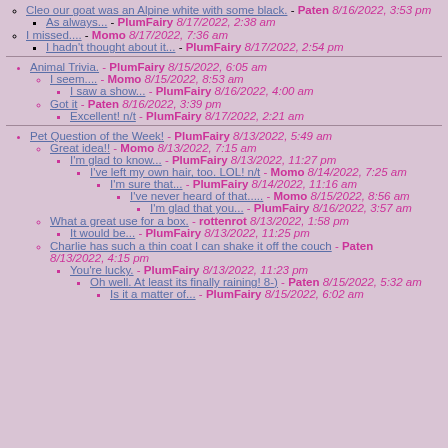Cleo our goat was an Alpine white with some black. - Paten 8/16/2022, 3:53 pm
As always... - PlumFairy 8/17/2022, 2:38 am
I missed.... - Momo 8/17/2022, 7:36 am
I hadn't thought about it... - PlumFairy 8/17/2022, 2:54 pm
Animal Trivia. - PlumFairy 8/15/2022, 6:05 am
I seem.... - Momo 8/15/2022, 8:53 am
I saw a show... - PlumFairy 8/16/2022, 4:00 am
Got it - Paten 8/16/2022, 3:39 pm
Excellent! n/t - PlumFairy 8/17/2022, 2:21 am
Pet Question of the Week! - PlumFairy 8/13/2022, 5:49 am
Great idea!! - Momo 8/13/2022, 7:15 am
I'm glad to know... - PlumFairy 8/13/2022, 11:27 pm
I've left my own hair, too. LOL! n/t - Momo 8/14/2022, 7:25 am
I'm sure that... - PlumFairy 8/14/2022, 11:16 am
I've never heard of that..... - Momo 8/15/2022, 8:56 am
I'm glad that you... - PlumFairy 8/16/2022, 3:57 am
What a great use for a box. - rottenrot 8/13/2022, 1:58 pm
It would be... - PlumFairy 8/13/2022, 11:25 pm
Charlie has such a thin coat I can shake it off the couch - Paten 8/13/2022, 4:15 pm
You're lucky. - PlumFairy 8/13/2022, 11:23 pm
Oh well. At least its finally raining! 8-) - Paten 8/15/2022, 5:32 am
Is it a matter of... - PlumFairy 8/15/2022, 6:02 am